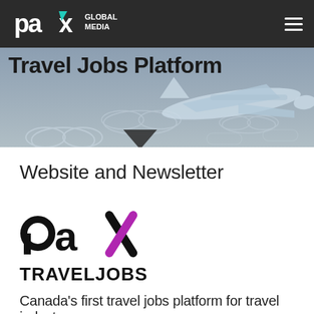PAX Global Media (logo) + hamburger menu
Travel Jobs Platform
[Figure (illustration): Hero banner with airplane illustration on blue-grey gradient background with cloud sketches, and a downward-pointing arrow below]
Website and Newsletter
[Figure (logo): PAX TRAVELJOBS logo — 'pax' in bold black lowercase with magenta X accent, 'TRAVELJOBS' in bold black uppercase below]
Canada's first travel jobs platform for travel industry...